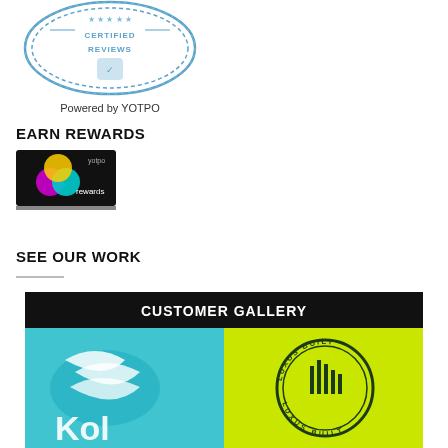[Figure (logo): Certified Reviews badge with blue circular seal design and 'Powered by YOTPO' text below]
EARN REWARDS
[Figure (logo): YOTPO Rewards dark banner image with colorful circles logo and 'rewards' text]
SEE OUR WORK
[Figure (photo): Customer Gallery banner showing two embroidered/printed items: a blue Kold design on left and a yellow-green Luxus Built circular logo on right]